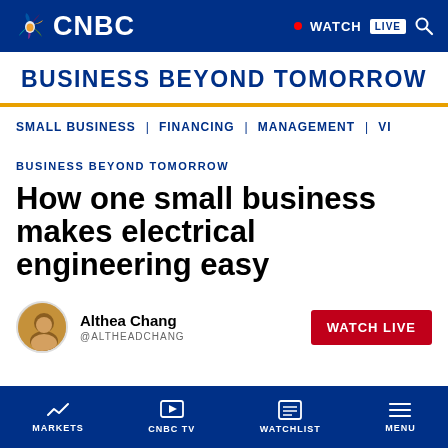CNBC — WATCH LIVE
BUSINESS BEYOND TOMORROW
SMALL BUSINESS | FINANCING | MANAGEMENT | VI
BUSINESS BEYOND TOMORROW
How one small business makes electrical engineering easy
Althea Chang @ALTHEADCHANG
MARKETS | CNBC TV | WATCHLIST | MENU